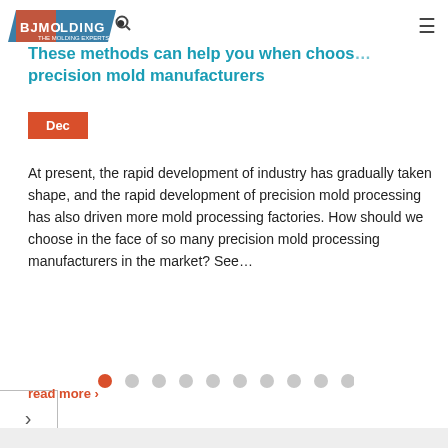BJMolding — navigation bar with logo, search icon, hamburger menu
These methods can help you when choosing precision mold manufacturers
Dec
At present, the rapid development of industry has gradually taken shape, and the rapid development of precision mold processing has also driven more mold processing factories. How should we choose in the face of so many precision mold processing manufacturers in the market? See…
read more ›
[Figure (other): Pagination dots — 10 dots, first dot active (red), rest grey]